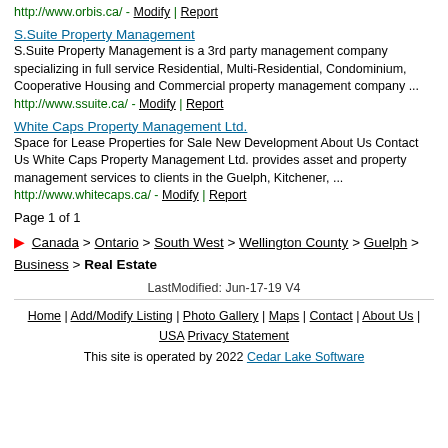http://www.orbis.ca/ - Modify | Report
S.Suite Property Management
S.Suite Property Management is a 3rd party management company specializing in full service Residential, Multi-Residential, Condominium, Cooperative Housing and Commercial property management company ...
http://www.ssuite.ca/ - Modify | Report
White Caps Property Management Ltd.
Space for Lease Properties for Sale New Development About Us Contact Us White Caps Property Management Ltd. provides asset and property management services to clients in the Guelph, Kitchener, ...
http://www.whitecaps.ca/ - Modify | Report
Page 1 of 1
Canada > Ontario > South West > Wellington County > Guelph > Business > Real Estate
LastModified: Jun-17-19 V4
Home | Add/Modify Listing | Photo Gallery | Maps | Contact | About Us | USA Privacy Statement
This site is operated by 2022 Cedar Lake Software